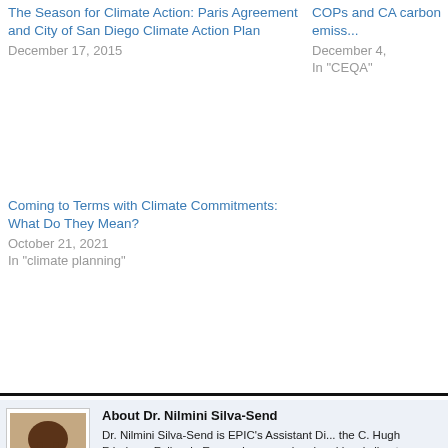The Season for Climate Action: Paris Agreement and City of San Diego Climate Action Plan
December 17, 2015
COPs and CA carbon emiss...
December 4,
In "CEQA"
Coming to Terms with Climate Commitments: What Do They Mean?
October 21, 2021
In "climate planning"
[Figure (photo): Headshot photo of Dr. Nilmini Silva-Send, a woman with dark hair]
About Dr. Nilmini Silva-Send
Dr. Nilmini Silva-Send is EPIC's Assistant Di... the C. Hugh Friedman Fellow in Energy Law... regional and local climate change projects ... technical knowledge about energy and GHG... measures. She has participated in several i... dialogues, including in Mexico and Saudi Ara... co-Principal Investigator in a recent multidi... Foundation funded climate education proje... climate scientists, social psychologists and... develop more effective methods to comm...